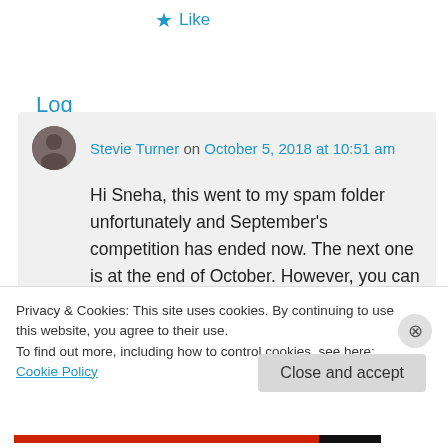★ Like
Log in to Reply
Stevie Turner on October 5, 2018 at 10:51 am
Hi Sneha, this went to my spam folder unfortunately and September's competition has ended now. The next one is at the end of October. However, you can write a guest post for me if you like, and send it to
Privacy & Cookies: This site uses cookies. By continuing to use this website, you agree to their use.
To find out more, including how to control cookies, see here: Cookie Policy
Close and accept